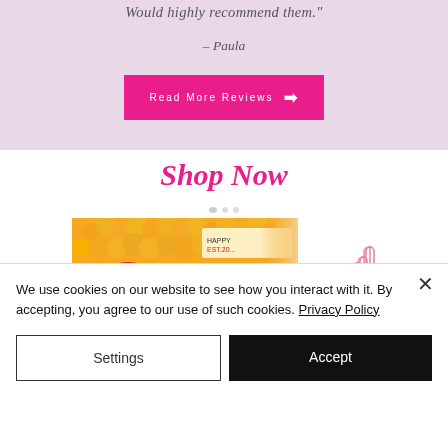Would highly recommend them." – Paula
[Figure (other): Pink button labeled 'Read More Reviews' with arrow]
Shop Now
[Figure (photo): Person smiling in front of orange balloon wall decoration]
[Figure (illustration): Pink pointing finger/hand icon]
We use cookies on our website to see how you interact with it. By accepting, you agree to our use of such cookies. Privacy Policy
Settings
Accept